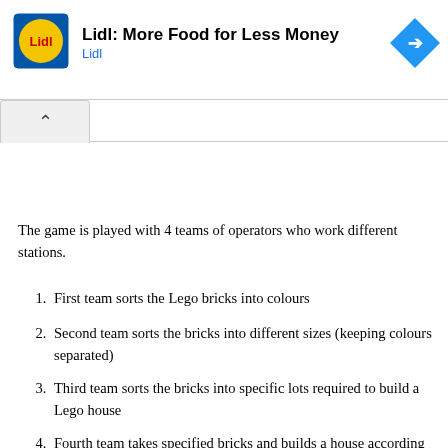[Figure (logo): Lidl advertisement banner with Lidl logo (blue border, yellow circle, red text), ad title 'Lidl: More Food for Less Money', subtitle 'Lidl', and a blue diamond navigation arrow icon on the right]
The game is played with 4 teams of operators who work different stations.
First team sorts the Lego bricks into colours
Second team sorts the bricks into different sizes (keeping colours separated)
Third team sorts the bricks into specific lots required to build a Lego house
Fourth team takes specified bricks and builds a house according to the instructions